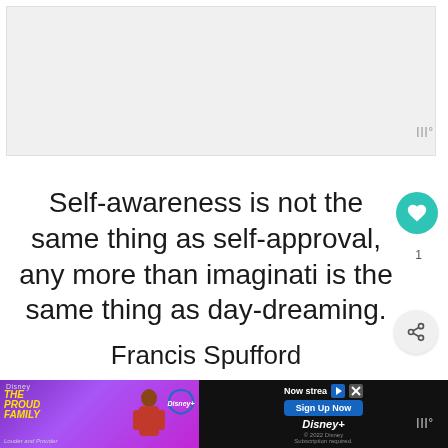[Figure (other): Grey empty content area placeholder at top of screen]
Self-awareness is not the same thing as self-approval, any more than imagination is the same thing as day-dreaming.
Francis Spufford
WHAT'S NEXT → Inspirational Quotes Abo...
[Figure (other): Disney+ advertisement banner for The Proud Family: Louder and Prouder. Shows 'Now streaming', 'Sign Up Now' button, Disney+ logo, and © 2022 Disney Subscription required text.]